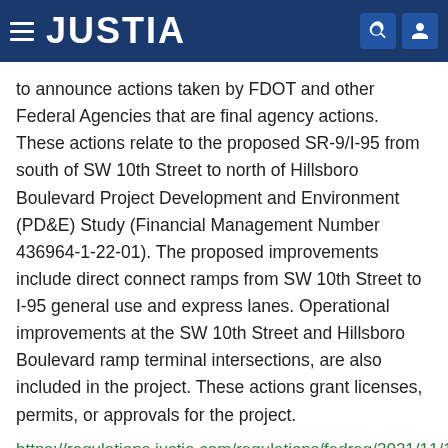JUSTIA
to announce actions taken by FDOT and other Federal Agencies that are final agency actions. These actions relate to the proposed SR-9/I-95 from south of SW 10th Street to north of Hillsboro Boulevard Project Development and Environment (PD&E) Study (Financial Management Number 436964-1-22-01). The proposed improvements include direct connect ramps from SW 10th Street to I-95 general use and express lanes. Operational improvements at the SW 10th Street and Hillsboro Boulevard ramp terminal intersections, are also included in the project. These actions grant licenses, permits, or approvals for the project.
https://regulations.justia.com/regulations/fedreg/2021/11/15/2021-24622.html
Notice of Final Federal Agency Actions on the North